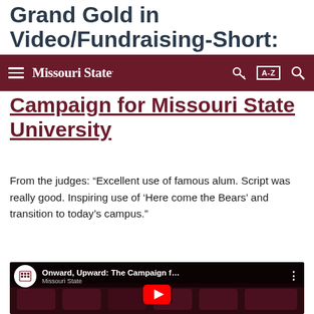Grand Gold in Video/Fundraising-Short:
Missouri State — navigation bar with hamburger menu, key icon, A-Z index, and search icon
Campaign for Missouri State University
From the judges: “Excellent use of famous alum. Script was really good. Inspiring use of ‘Here come the Bears’ and transition to today’s campus.”
[Figure (screenshot): YouTube video thumbnail showing 'Onward, Upward: The Campaign f...' with Missouri State logo circle, a man in a dark suit seated among red theater seats, and a large YouTube play button overlay.]